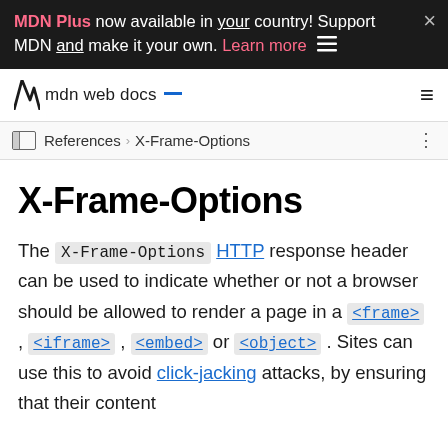MDN Plus now available in your country! Support MDN and make it your own. Learn more
mdn web docs
References > X-Frame-Options
X-Frame-Options
The X-Frame-Options HTTP response header can be used to indicate whether or not a browser should be allowed to render a page in a <frame>, <iframe>, <embed> or <object>. Sites can use this to avoid click-jacking attacks, by ensuring that their content